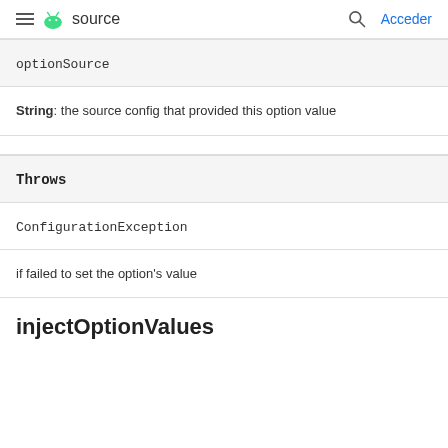source  Acceder
optionSource
String: the source config that provided this option value
Throws
ConfigurationException
if failed to set the option's value
injectOptionValues